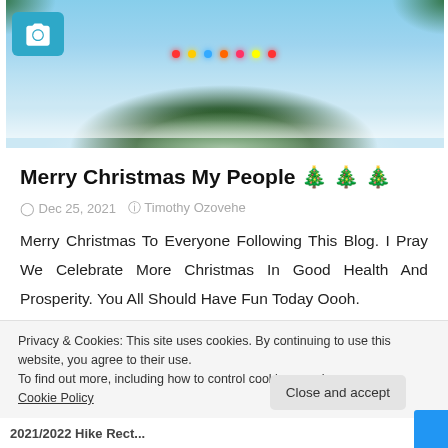[Figure (photo): Blog header image of a snow-covered Christmas tree with colorful lights and blue-tinted winter background. A camera icon overlay appears in the top-left corner.]
Merry Christmas My People 🎄🎄🎄
Dec 25, 2021  Timothy Ozovehe
Merry Christmas To Everyone Following This Blog. I Pray We Celebrate More Christmas In Good Health And Prosperity. You All Should Have Fun Today Oooh.
Privacy & Cookies: This site uses cookies. By continuing to use this website, you agree to their use.
To find out more, including how to control cookies, see here: Cookie Policy
Close and accept